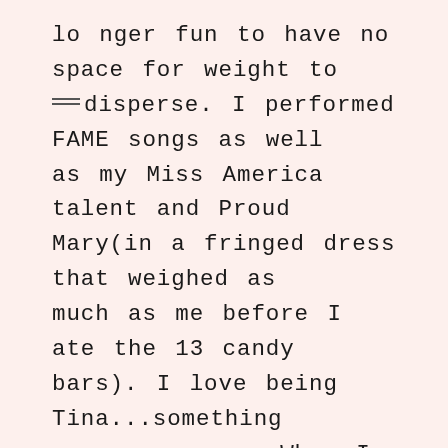longer fun to have no space for weight to disperse. I performed FAME songs as well as my Miss America talent and Proud Mary(in a fringed dress that weighed as much as me before I ate the 13 candy bars). I love being Tina...something comes over me. When I start that monologue..."Ya Know, Every Now And Then..."I feel my soul come alive and for four minutes on that JTown stage I was Tina, sans the legs. I love emceeing these locals, and seeing other girls in my position just one year ago, eager to have a shot at the best opportunity in the